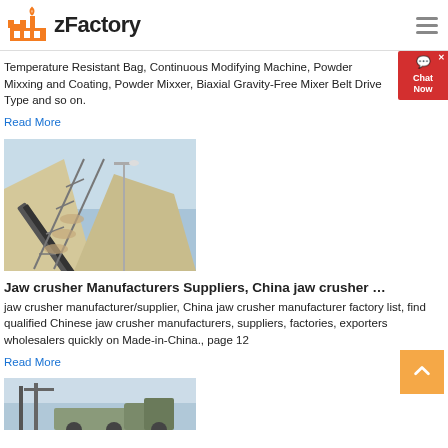zFactory
Temperature Resistant Bag, Continuous Modifying Machine, Powder Mixxing and Coating, Powder Mixxer, Biaxial Gravity-Free Mixer Belt Drive Type and so on.
Read More
[Figure (photo): Industrial conveyor belt carrying material up a large aggregate pile at a quarry or mining site, with metal railings and a light pole visible against a blue sky.]
Jaw crusher Manufacturers Suppliers, China jaw crusher …
jaw crusher manufacturer/supplier, China jaw crusher manufacturer factory list, find qualified Chinese jaw crusher manufacturers, suppliers, factories, exporters wholesalers quickly on Made-in-China., page 12
Read More
[Figure (photo): Partial view of industrial machinery or truck at the bottom of the page, cropped.]